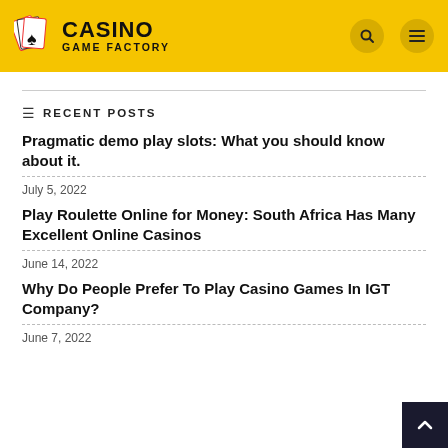Casino Game Factory
RECENT POSTS
Pragmatic demo play slots: What you should know about it.
July 5, 2022
Play Roulette Online for Money: South Africa Has Many Excellent Online Casinos
June 14, 2022
Why Do People Prefer To Play Casino Games In IGT Company?
June 7, 2022